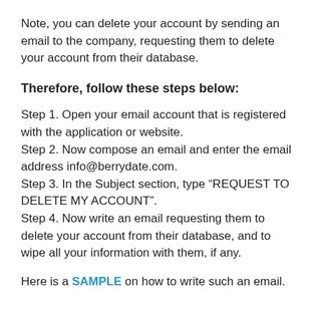Note, you can delete your account by sending an email to the company, requesting them to delete your account from their database.
Therefore, follow these steps below:
Step 1. Open your email account that is registered with the application or website.
Step 2. Now compose an email and enter the email address info@berrydate.com.
Step 3. In the Subject section, type “REQUEST TO DELETE MY ACCOUNT”.
Step 4. Now write an email requesting them to delete your account from their database, and to wipe all your information with them, if any.
Here is a SAMPLE on how to write such an email.